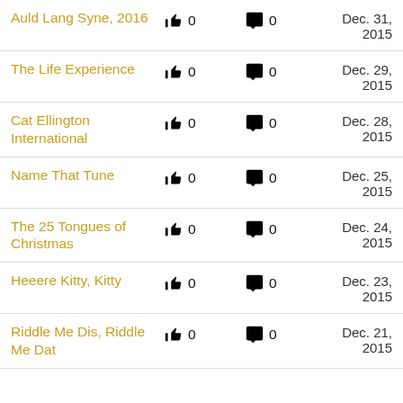Auld Lang Syne, 2016 | 👍 0 | 💬 0 | Dec. 31, 2015
The Life Experience | 👍 0 | 💬 0 | Dec. 29, 2015
Cat Ellington International | 👍 0 | 💬 0 | Dec. 28, 2015
Name That Tune | 👍 0 | 💬 0 | Dec. 25, 2015
The 25 Tongues of Christmas | 👍 0 | 💬 0 | Dec. 24, 2015
Heeere Kitty, Kitty | 👍 0 | 💬 0 | Dec. 23, 2015
Riddle Me Dis, Riddle Me Dat | 👍 0 | 💬 0 | Dec. 21, 2015